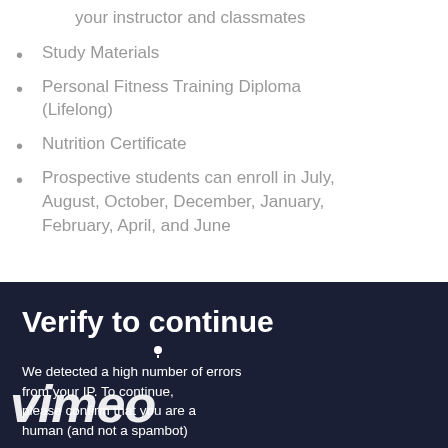your instructor and classmates
Study Materials
Personal Fitness Training Diploma (Lifelong)
Nutrition Certificate
Prospective students can enroll in July, August, October, December, January, February, April, and June
[Figure (screenshot): Vimeo 'Verify to continue' bot-check overlay on a dark navy background, showing the Vimeo logo and text: 'We detected a high number of errors from your IP. To continue, please confirm that you are a human (and not a spambot)']